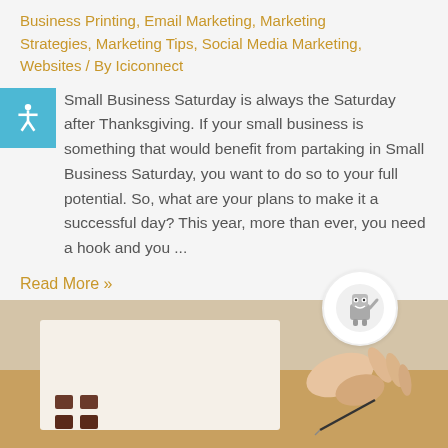Business Printing, Email Marketing, Marketing Strategies, Marketing Tips, Social Media Marketing, Websites / By Iciconnect
Small Business Saturday is always the Saturday after Thanksgiving. If your small business is something that would benefit from partaking in Small Business Saturday, you want to do so to your full potential. So, what are your plans to make it a successful day? This year, more than ever, you need a hook and you ...
Read More »
[Figure (photo): A person's hand using a calculator and writing with a pen on paper, on a wooden desk surface.]